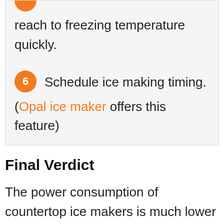reach to freezing temperature quickly.
6 Schedule ice making timing. (Opal ice maker offers this feature)
Final Verdict
The power consumption of countertop ice makers is much lower than in refrigerators. You should always buy the top-rated ice makers and clean them